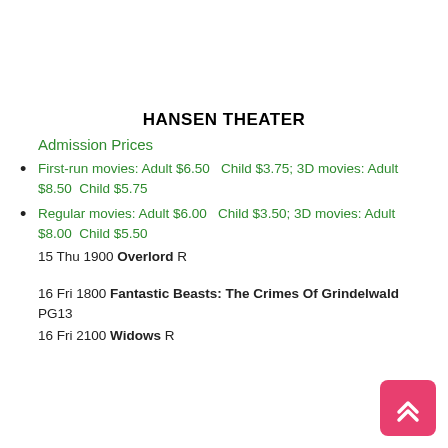HANSEN THEATER
Admission Prices
First-run movies: Adult $6.50   Child $3.75; 3D movies: Adult $8.50  Child $5.75
Regular movies: Adult $6.00    Child $3.50; 3D movies: Adult $8.00  Child $5.50
15 Thu 1900 Overlord R
16 Fri 1800 Fantastic Beasts: The Crimes Of Grindelwald PG13
16 Fri 2100 Widows R